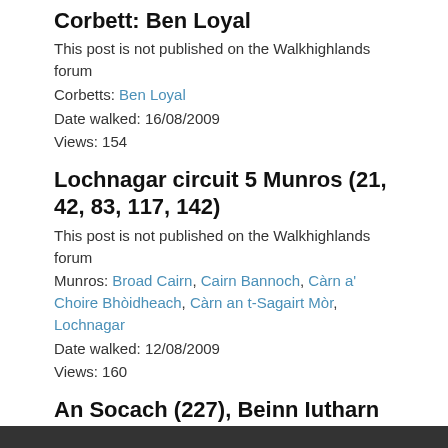Corbett: Ben Loyal
This post is not published on the Walkhighlands forum
Corbetts: Ben Loyal
Date walked: 16/08/2009
Views: 154
Lochnagar circuit 5 Munros (21, 42, 83, 117, 142)
This post is not published on the Walkhighlands forum
Munros: Broad Cairn, Cairn Bannoch, Càrn a' Choire Bhòidheach, Càrn an t-Sagairt Mòr, Lochnagar
Date walked: 12/08/2009
Views: 160
An Socach (227), Beinn Iutharn Mhor (88), Carn Bhac (221)
This post is not published on the Walkhighlands forum
Munros: An Socach (Braemar), Beinn Iutharn Mhòr,